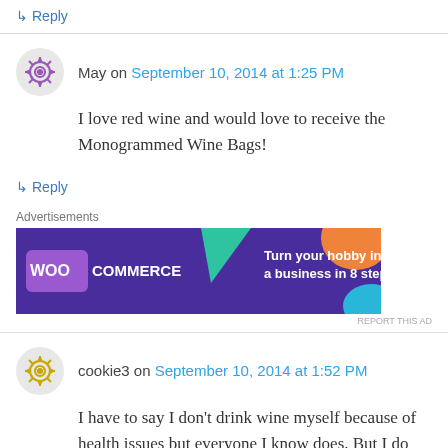↳ Reply
May on September 10, 2014 at 1:25 PM
I love red wine and would love to receive the Monogrammed Wine Bags!
↳ Reply
[Figure (other): WooCommerce advertisement banner: 'Turn your hobby into a business in 8 steps']
cookie3 on September 10, 2014 at 1:52 PM
I have to say I don't drink wine myself because of health issues but everyone I know does. But I do cook with it so would love to receive the Fleur